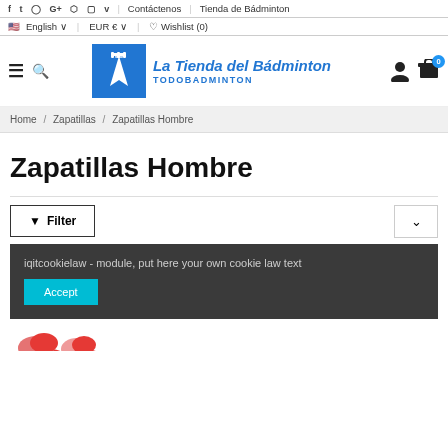f  t  instagram  G+  pinterest  youtube  v  |  Contáctenos  |  Tienda de Bádminton
English ∨  |  EUR € ∨  |  ♡ Wishlist (0)
[Figure (logo): La Tienda del Bádminton TODOBADMINTON logo — blue square with shuttlecock icon, blue text]
Home / Zapatillas / Zapatillas Hombre
Zapatillas Hombre
▼ Filter
iqitcookielaw - module, put here your own cookie law text
Accept
[Figure (photo): Partial view of red badminton shoes at the bottom of the page]